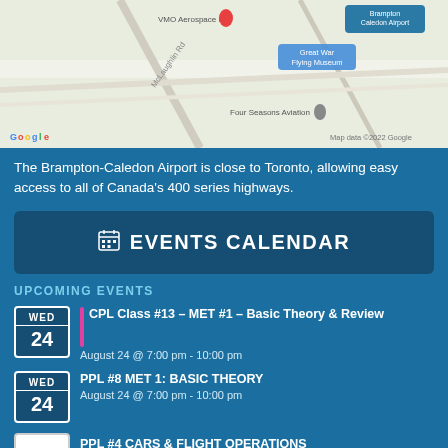[Figure (map): Google Maps screenshot showing Brampton-Caledon Airport area with markers for VMO Aerospace Inc, Great War Flying Museum, Brampton Caledon Airport, Four Seasons Aviation. Road McLaughlin Rd visible. Map data ©2022 Google watermark.]
The Brampton-Caledon Airport is close to Toronto, allowing easy access to all of Canada's 400 series highways.
EVENTS CALENDAR
UPCOMING EVENTS
CPL Class #13 – MET #1 – Basic Theory & Review
August 24 @ 7:00 pm - 10:00 pm
PPL #8 MET 1: BASIC THEORY
August 24 @ 7:00 pm - 10:00 pm
PPL #4 CARS & FLIGHT OPERATIONS